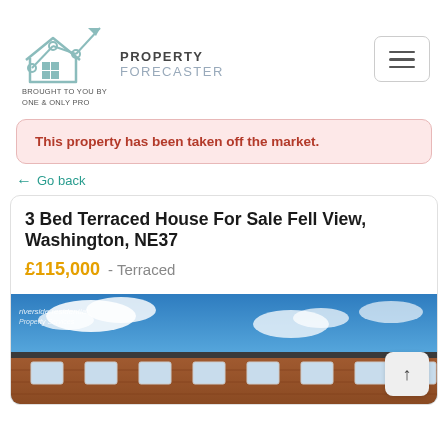[Figure (logo): Property Forecaster logo with house outline, line chart arrow, and grid icon, with text 'PROPERTY FORECASTER' and 'BROUGHT TO YOU BY ONE & ONLY PRO']
This property has been taken off the market.
← Go back
3 Bed Terraced House For Sale Fell View, Washington, NE37
£115,000  - Terraced
[Figure (photo): Exterior photo of a terraced house with brick facade, tiled roof, white-framed windows under a blue sky with clouds. Watermark text: 'riverside residential Property Services']